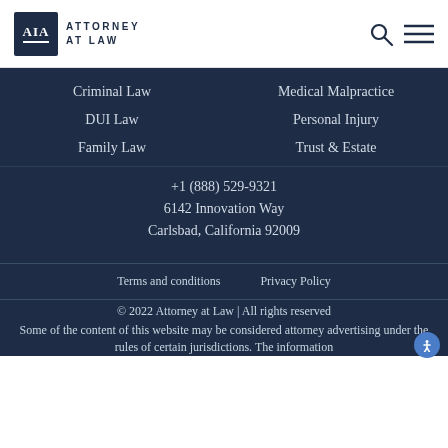Attorney at Law
Criminal Law
Medical Malpractice
DUI Law
Personal Injury
Family Law
Trust & Estate
+1 (888) 529-9321
6142 Innovation Way
Carlsbad, California 92009
Terms and conditions   Privacy Policy
© 2022 Attorney at Law | All rights reserved
Some of the content of this website may be considered attorney advertising under the rules of certain jurisdictions. The information